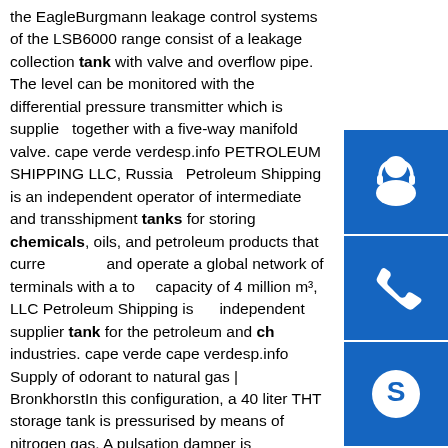the EagleBurgmann leakage control systems of the LSB6000 range consist of a leakage collection tank with valve and overflow pipe. The level can be monitored with the differential pressure transmitter which is supplied together with a five-way manifold valve. cape verde verdesp.info PETROLEUM SHIPPING LLC, Russia Petroleum Shipping is an independent operator of intermediate and transshipment tanks for storing chemicals, oils, and petroleum products that currently own and operate a global network of terminals with a total capacity of 4 million m³, LLC Petroleum Shipping is independent supplier tank for the petroleum and chemical industries. cape verde cape verdesp.info Supply of odorant to natural gas | Bronkhorst In this configuration, a 40 liter THT storage tank is pressurised by means of nitrogen gas. A pulsation damper is incorporated to remove pressure surges and to guarantee a stable control. This results in a precharge pressure upstream of the flow controller of 10 to 13 bars. Downstream of the device the pressure is
[Figure (illustration): Three blue sidebar buttons: top with headset/support icon, middle with phone icon, bottom with Skype icon]